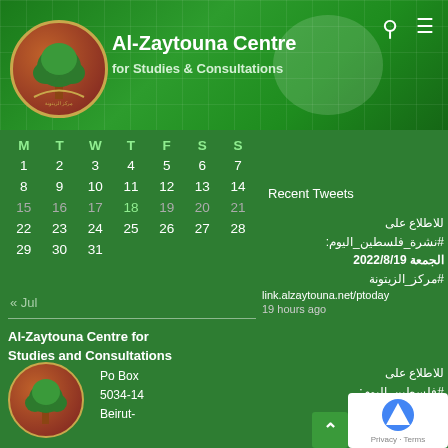Al-Zaytouna Centre for Studies & Consultations
| M | T | W | T | F | S | S |
| --- | --- | --- | --- | --- | --- | --- |
| 1 | 2 | 3 | 4 | 5 | 6 | 7 |
| 8 | 9 | 10 | 11 | 12 | 13 | 14 |
| 15 | 16 | 17 | 18 | 19 | 20 | 21 |
| 22 | 23 | 24 | 25 | 26 | 27 | 28 |
| 29 | 30 | 31 |  |  |  |  |
« Jul
Recent Tweets
للاطلاع على #نشرة_فلسطين_اليوم: الجمعة 2022/8/19 #مركز_الزيتونة link.alzaytouna.net/ptoday 19 hours ago
Al-Zaytouna Centre for Studies and Consultations
Po Box 5034-14 Beirut-